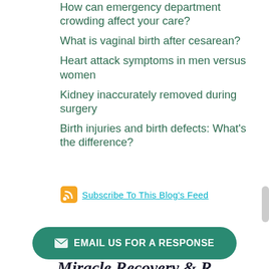How can emergency department crowding affect your care?
What is vaginal birth after cesarean?
Heart attack symptoms in men versus women
Kidney inaccurately removed during surgery
Birth injuries and birth defects: What's the difference?
Subscribe To This Blog's Feed
EMAIL US FOR A RESPONSE